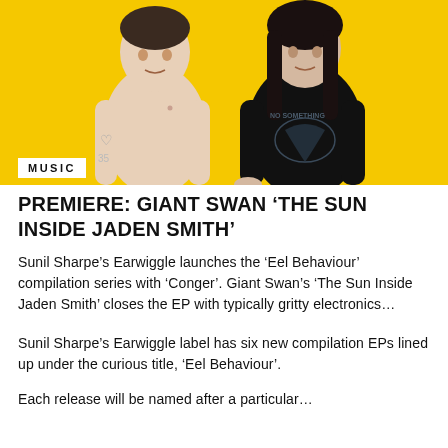[Figure (photo): Two people posed against a bright yellow background. On the left, a shirtless person with tattoos including a heart on the left arm. On the right, a person wearing a black graphic t-shirt.]
MUSIC
PREMIERE: GIANT SWAN ‘THE SUN INSIDE JADEN SMITH’
Sunil Sharpe’s Earwiggle launches the ‘Eel Behaviour’ compilation series with ‘Conger’. Giant Swan’s ‘The Sun Inside Jaden Smith’ closes the EP with typically gritty electronics…
Sunil Sharpe’s Earwiggle label has six new compilation EPs lined up under the curious title, ‘Eel Behaviour’.
Each release will be named after a particular…